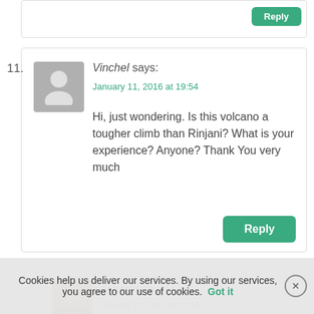11. Vinchel says: January 11, 2016 at 19:54 — Hi, just wondering. Is this volcano a tougher climb than Rinjani? What is your experience? Anyone? Thank You very much
nelson says: January 22, 2016 at 10:46
Cookies help us deliver our services. By using our services, you agree to our use of cookies. Got it